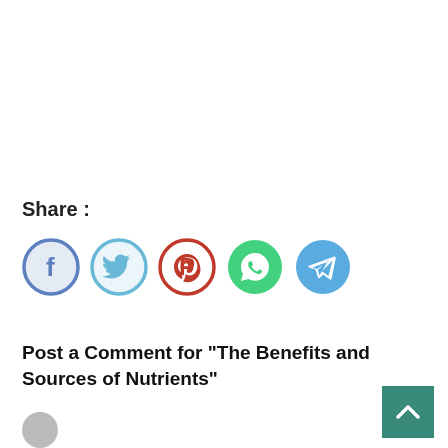Share :
[Figure (illustration): Row of five social media share buttons: Facebook (blue), Twitter (light blue), Pinterest (red), WhatsApp (green), Telegram (blue)]
Post a Comment for "The Benefits and Sources of Nutrients"
[Figure (illustration): Teal/green back-to-top arrow button in bottom right corner]
[Figure (illustration): Gray avatar circle at bottom left]